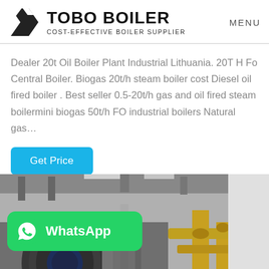TOBO BOILER COST-EFFECTIVE BOILER SUPPLIER | MENU
Dealer 20t Oil Boiler Plant Industrial Lithuania. 20T H Fo Central Boiler. Biogas 20t/h steam boiler cost Diesel oil fired boiler . Best seller 0.5-20t/h gas and oil fired steam boilermini biogas 50t/h FO industrial boilers Natural gas…
Get Price
[Figure (photo): Industrial boiler room with large cylindrical boilers, pipes (yellow and grey), gauges, and industrial equipment. A WhatsApp contact badge overlay is visible in the bottom-left corner.]